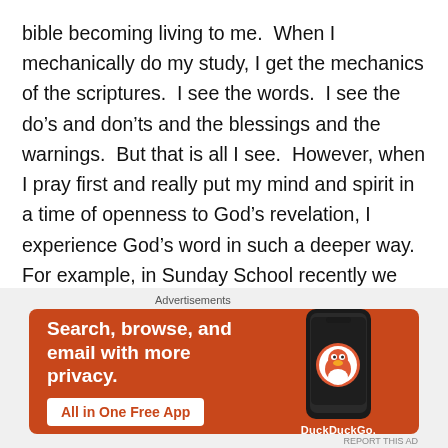bible becoming living to me.  When I mechanically do my study, I get the mechanics of the scriptures.  I see the words.  I see the do's and don'ts and the blessings and the warnings.  But that is all I see.  However, when I pray first and really put my mind and spirit in a time of openness to God's revelation, I experience God's word in such a deeper way. For example, in Sunday School recently we discussed Isaac and the blessings to Jacob and Esau (Genesis 26).  Through that study I was struck by the fact that Isaac didn't just “take back” the blessing that Jacob received and it made me realize none of us can ever truly
Advertisements
[Figure (illustration): DuckDuckGo advertisement banner with orange background. Text reads: Search, browse, and email with more privacy. All in One Free App. Shows a smartphone with DuckDuckGo logo.]